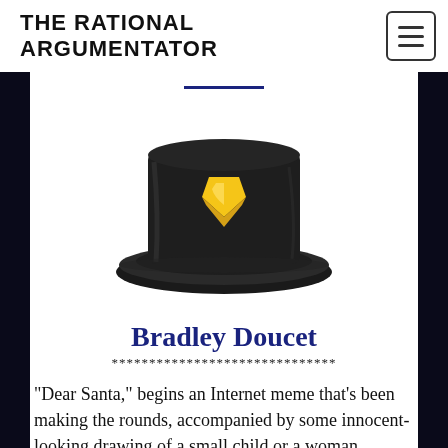THE RATIONAL ARGUMENTATOR
[Figure (illustration): A black top hat with a gold/yellow shield emblem on the front, illustrated in a cartoon style]
Bradley Doucet
******************************
“Dear Santa,” begins an Internet meme that’s been making the rounds, accompanied by some innocent-looking drawing of a small child or a woman decorating a tree, “I’m writing to tell you